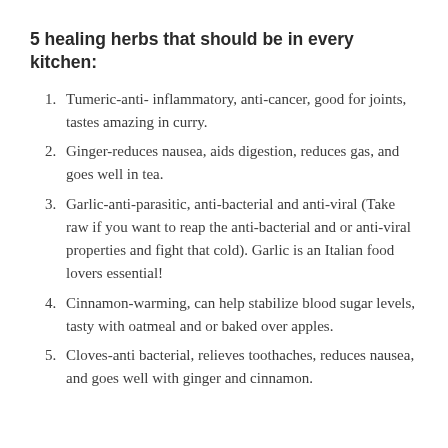5 healing herbs that should be in every kitchen:
Tumeric-anti- inflammatory, anti-cancer, good for joints, tastes amazing in curry.
Ginger-reduces nausea, aids digestion, reduces gas, and goes well in tea.
Garlic-anti-parasitic, anti-bacterial and anti-viral (Take raw if you want to reap the anti-bacterial and or anti-viral properties and fight that cold). Garlic is an Italian food lovers essential!
Cinnamon-warming, can help stabilize blood sugar levels, tasty with oatmeal and or baked over apples.
Cloves-anti bacterial, relieves toothaches, reduces nausea, and goes well with ginger and cinnamon.